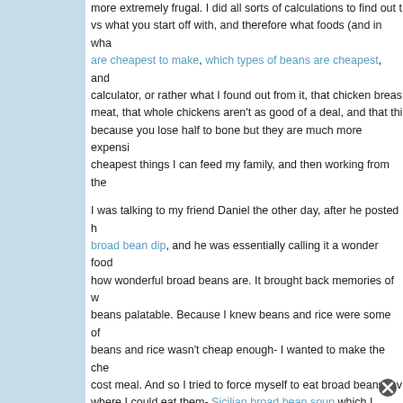more extremely frugal. I did all sorts of calculations to find out the best price vs what you start off with, and therefore what foods (and in what quantities) are cheapest to make, which types of beans are cheapest, and from that calculator, or rather what I found out from it, that chicken breast is the cheapest meat, that whole chickens aren't as good of a deal, and that thighs are cheap because you lose half to bone but they are much more expensive per pound, the cheapest things I can feed my family, and then working from the
I was talking to my friend Daniel the other day, after he posted his recipe for broad bean dip, and he was essentially calling it a wonder food telling me how wonderful broad beans are. It brought back memories of wanting to make beans palatable. Because I knew beans and rice were some of the cheapest foods, beans and rice wasn't cheap enough- I wanted to make the cheapest possible cost meal. And so I tried to force myself to eat broad beans, everywhere where I could eat them- Sicilian broad bean soup which I actually made work with enough garlic and lemon juice to drown out what I thought
Read more »
Posted by Penniless Parenting at July 29, 2022   No comments:
Labels: asd, autism, extreme frugality, frugal shopping, frugal strategies, kid
Thursday, July 28, 2022